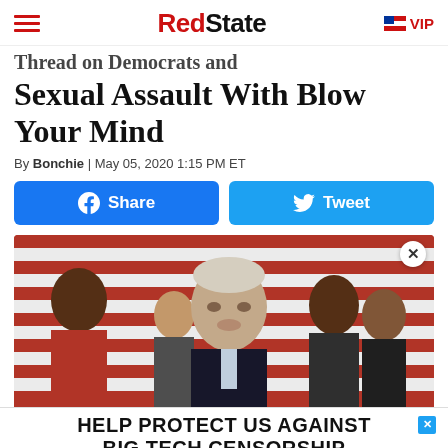RedState | VIP
Thread on Democrats and Sexual Assault With Blow Your Mind
By Bonchie | May 05, 2020 1:15 PM ET
[Figure (other): Share and Tweet social media buttons (Facebook Share, Twitter Tweet)]
[Figure (photo): Photo of a man at a podium with people standing in the background in front of an American flag]
HELP PROTECT US AGAINST BIG TECH CENSORSHIP